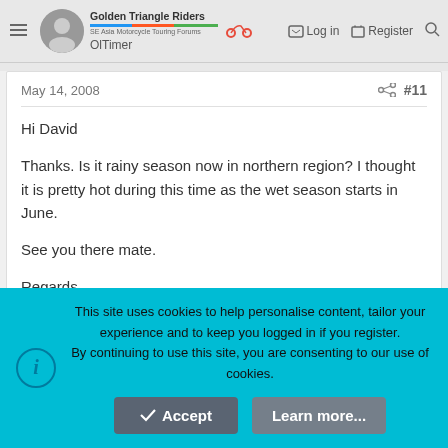Golden Triangle Riders | SE Asia Motorcycle Touring Forums | OlTimer | Log in | Register
May 14, 2008 #11
Hi David

Thanks. Is it rainy season now in northern region? I thought it is pretty hot during this time as the wet season starts in June.

See you there mate.

Regards.

Lip Meng
This site uses cookies to help personalise content, tailor your experience and to keep you logged in if you register.
By continuing to use this site, you are consenting to our use of cookies.